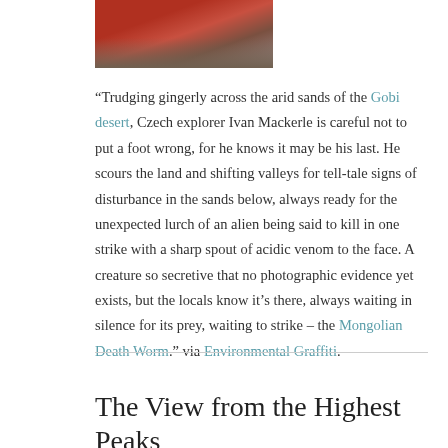[Figure (photo): A painted or illustrated image of a red worm-like creature (the Mongolian Death Worm) on desert sand background.]
“Trudging gingerly across the arid sands of the Gobi desert, Czech explorer Ivan Mackerle is careful not to put a foot wrong, for he knows it may be his last. He scours the land and shifting valleys for tell-tale signs of disturbance in the sands below, always ready for the unexpected lurch of an alien being said to kill in one strike with a sharp spout of acidic venom to the face. A creature so secretive that no photographic evidence yet exists, but the locals know it’s there, always waiting in silence for its prey, waiting to strike – the Mongolian Death Worm.” via Environmental Graffiti.
The View from the Highest Peaks